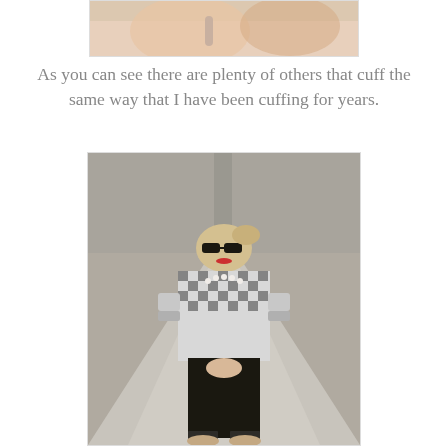[Figure (photo): Partial photo at top of page, cropped, showing a person — only lower portion visible, light skin tones, appears to be upper body/torso area]
As you can see there are plenty of others that cuff the same way that I have been cuffing for years.
[Figure (photo): Full photograph of a woman with blonde hair pulled back, wearing black-rimmed glasses, red lipstick, a black and white gingham/checkered shirt with sleeves cuffed/rolled up, a white pearl necklace, and black pants. She is seated outdoors on what appears to be a concrete step or ledge, leaning forward with her hands clasped. The photo is in a slightly desaturated, editorial style.]